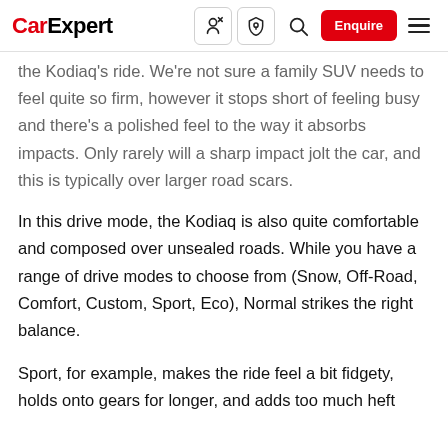CarExpert
the Kodiaq's ride. We're not sure a family SUV needs to feel quite so firm, however it stops short of feeling busy and there's a polished feel to the way it absorbs impacts. Only rarely will a sharp impact jolt the car, and this is typically over larger road scars.
In this drive mode, the Kodiaq is also quite comfortable and composed over unsealed roads. While you have a range of drive modes to choose from (Snow, Off-Road, Comfort, Custom, Sport, Eco), Normal strikes the right balance.
Sport, for example, makes the ride feel a bit fidgety, holds onto gears for longer, and adds too much heft